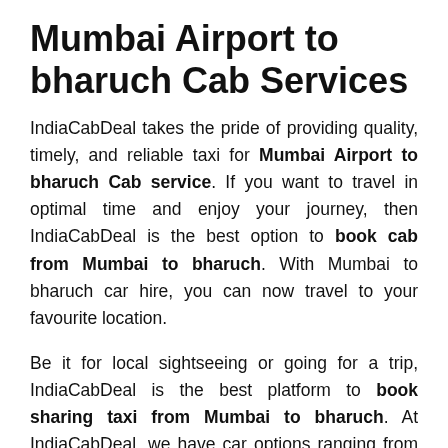Mumbai Airport to bharuch Cab Services
IndiaCabDeal takes the pride of providing quality, timely, and reliable taxi for Mumbai Airport to bharuch Cab service. If you want to travel in optimal time and enjoy your journey, then IndiaCabDeal is the best option to book cab from Mumbai to bharuch. With Mumbai to bharuch car hire, you can now travel to your favourite location.
Be it for local sightseeing or going for a trip, IndiaCabDeal is the best platform to book sharing taxi from Mumbai to bharuch. At IndiaCabDeal, we have car options ranging from sedans to hatchbacks and MUVs to SUVs. You can even avail